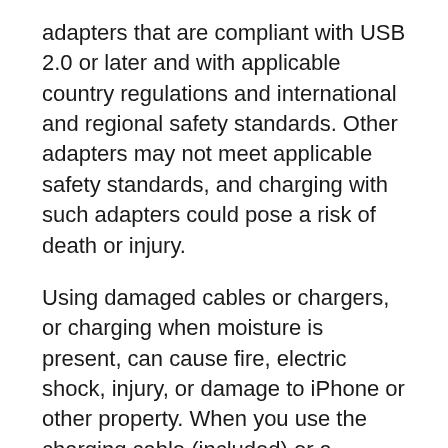adapters that are compliant with USB 2.0 or later and with applicable country regulations and international and regional safety standards. Other adapters may not meet applicable safety standards, and charging with such adapters could pose a risk of death or injury.
Using damaged cables or chargers, or charging when moisture is present, can cause fire, electric shock, injury, or damage to iPhone or other property. When you use the charging cable (included) or a wireless charger (sold separately) to charge iPhone, make sure its USB connector is fully inserted into a compatible power adapter before you plug the adapter into a power outlet. It's important to keep iPhone, the charging cable, the power adapter, and any wireless charger in a well-ventilated area when in use or charging. When